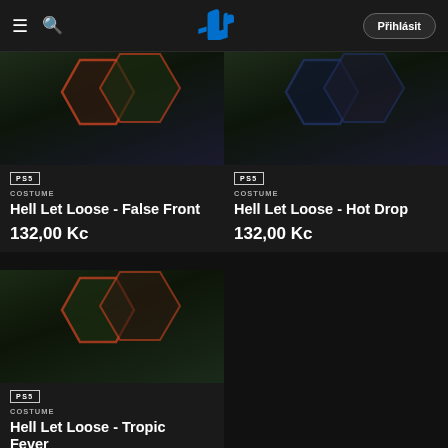PlayStation Store header with menu, search, PS logo, and Přihlásit button
[Figure (screenshot): Hell Let Loose - False Front game costume thumbnail with PS5 badge and hexagon art]
COSTUME
Hell Let Loose - False Front
132,00 Kc
[Figure (screenshot): Hell Let Loose - Hot Drop game costume thumbnail with PS5 badge and hexagon art]
COSTUME
Hell Let Loose - Hot Drop
132,00 Kc
[Figure (screenshot): Hell Let Loose - Tropic Fever game costume thumbnail with PS5 badge]
COSTUME
Hell Let Loose - Tropic Fever